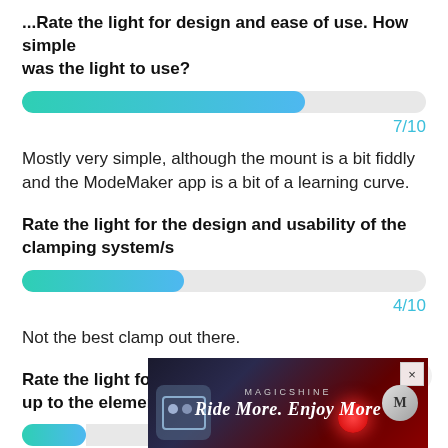Rate the light for design and ease of use. How simple was the light to use?
[Figure (other): Horizontal progress bar showing 7/10 score, filled approximately 70% with teal-to-blue gradient]
7/10
Mostly very simple, although the mount is a bit fiddly and the ModeMaker app is a bit of a learning curve.
Rate the light for the design and usability of the clamping system/s
[Figure (other): Horizontal progress bar showing 4/10 score, filled approximately 40% with teal-to-blue gradient]
4/10
Not the best clamp out there.
Rate the light for waterproofing. How did it stand up to the elements?
[Figure (other): Partial horizontal progress bar partially visible, score partially obscured by ad overlay showing /10]
No
[Figure (advertisement): Magicshine advertisement overlay showing 'Ride More. Enjoy More' tagline with bicycle light imagery on dark background, with X close buttons]